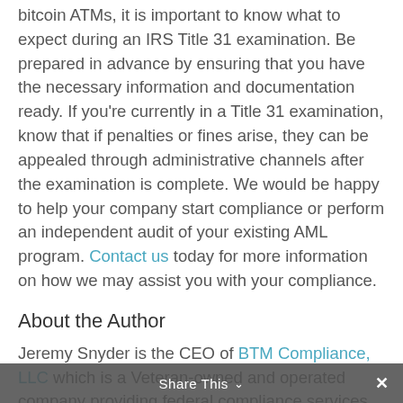bitcoin ATMs, it is important to know what to expect during an IRS Title 31 examination. Be prepared in advance by ensuring that you have the necessary information and documentation ready. If you're currently in a Title 31 examination, know that if penalties or fines arise, they can be appealed through administrative channels after the examination is complete. We would be happy to help your company start compliance or perform an independent audit of your existing AML program. Contact us today for more information on how we may assist you with your compliance.
About the Author
Jeremy Snyder is the CEO of BTM Compliance, LLC which is a Veteran-owned and operated company providing federal compliance services to operators of the Bitcoin ATM industry. Prior to becoming the CEO
Share This ×